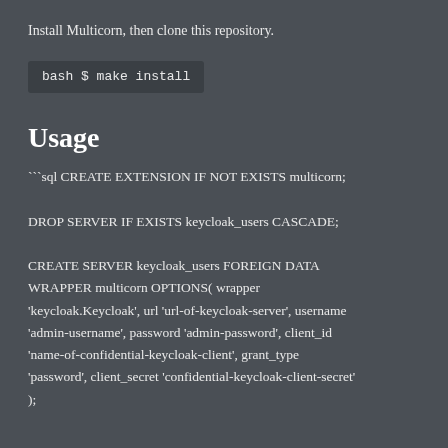Install Multicorn, then clone this repository.
bash $ make install
Usage
```sql CREATE EXTENSION IF NOT EXISTS multicorn;

DROP SERVER IF EXISTS keycloak_users CASCADE;

CREATE SERVER keycloak_users FOREIGN DATA WRAPPER multicorn OPTIONS( wrapper 'keycloak.Keycloak', url 'url-of-keycloak-server', username 'admin-username', password 'admin-password', client_id 'name-of-confidential-keycloak-client', grant_type 'password', client_secret 'confidential-keycloak-client-secret' );